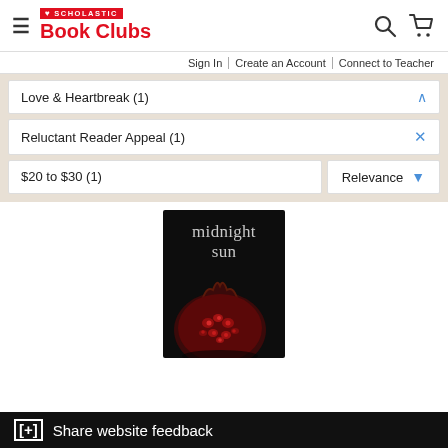Scholastic Book Clubs — Sign In | Create an Account | Connect to Teacher
Love & Heartbreak (1)
Reluctant Reader Appeal (1)
$20 to $30 (1)
Relevance
[Figure (photo): Book cover for 'Midnight Sun' showing white serif title text on a dark/black background with a pomegranate fruit in the lower half]
[+] Share website feedback